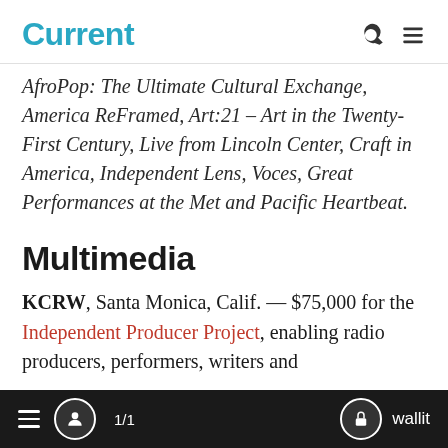Current
AfroPop: The Ultimate Cultural Exchange, America ReFramed, Art:21 – Art in the Twenty-First Century, Live from Lincoln Center, Craft in America, Independent Lens, Voces, Great Performances at the Met and Pacific Heartbeat.
Multimedia
KCRW, Santa Monica, Calif. — $75,000 for the Independent Producer Project, enabling radio producers, performers, writers and
1/1   wallit